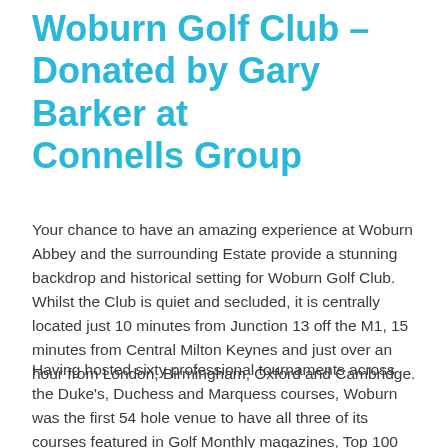Woburn Golf Club - Donated by Gary Barker at Connells Group
Your chance to have an amazing experience at Woburn Abbey and the surrounding Estate provide a stunning backdrop and historical setting for Woburn Golf Club. Whilst the Club is quiet and secluded, it is centrally located just 10 minutes from Junction 13 off the M1, 15 minutes from Central Milton Keynes and just over an hour from London, Birmingham, Oxford and Cambridge.
Having hosted sixty professional tournaments across the Duke's, Duchess and Marquess courses, Woburn was the first 54 hole venue to have all three of its courses featured in Golf Monthly magazines, Top 100 Courses in the UK and Ireland.